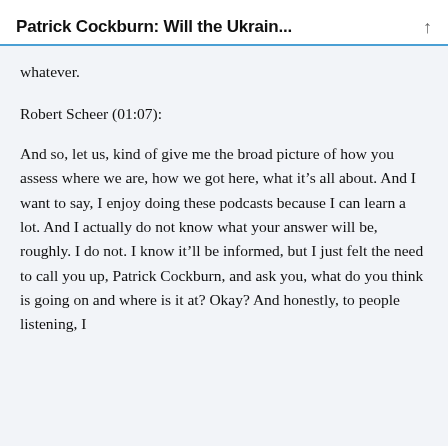Patrick Cockburn: Will the Ukrain...
whatever.
Robert Scheer (01:07):
And so, let us, kind of give me the broad picture of how you assess where we are, how we got here, what it's all about. And I want to say, I enjoy doing these podcasts because I can learn a lot. And I actually do not know what your answer will be, roughly. I do not. I know it'll be informed, but I just felt the need to call you up, Patrick Cockburn, and ask you, what do you think is going on and where is it at? Okay? And honestly, to people listening, I